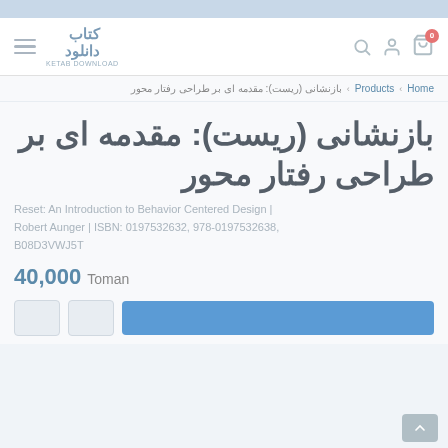Ketab Download website navigation bar
Home › Products › بازنشانی (ریست): مقدمه ای بر طراحی رفتار محور
بازنشانی (ریست): مقدمه ای بر طراحی رفتار محور
Reset: An Introduction to Behavior Centered Design | Robert Aunger | ISBN: 0197532632, 978-0197532638, B08D3VWJ5T
40,000 Toman